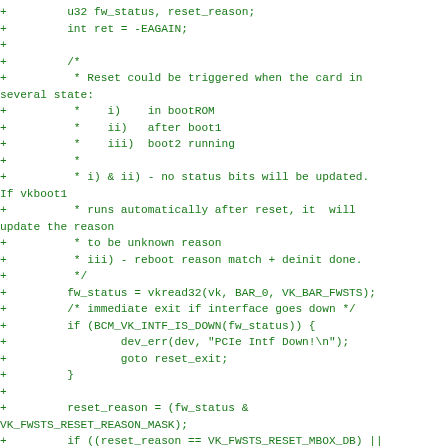+         u32 fw_status, reset_reason;
+         int ret = -EAGAIN;
+
+         /*
+          * Reset could be triggered when the card in several state:
+          *    i)    in bootROM
+          *    ii)   after boot1
+          *    iii)  boot2 running
+          *
+          * i) & ii) - no status bits will be updated. If vkboot1
+          * runs automatically after reset, it  will update the reason
+          * to be unknown reason
+          * iii) - reboot reason match + deinit done.
+          */
+         fw_status = vkread32(vk, BAR_0, VK_BAR_FWSTS);
+         /* immediate exit if interface goes down */
+         if (BCM_VK_INTF_IS_DOWN(fw_status)) {
+                 dev_err(dev, "PCIe Intf Down!\n");
+                 goto reset_exit;
+         }
+
+         reset_reason = (fw_status &
VK_FWSTS_RESET_REASON_MASK);
+         if ((reset_reason == VK_FWSTS_RESET_MBOX_DB) ||
+             (reset_reason == VK_FWSTS_RESET_UNKNOWN))
+                 ret = 0;
+